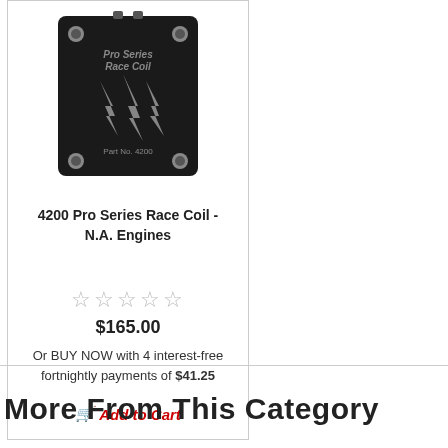[Figure (photo): Product photo of 4200 Pro Series Race Coil - a black ignition coil with lightning bolt logo and Part No. 4200 label]
4200 Pro Series Race Coil - N.A. Engines
☆☆☆☆☆
$165.00
Or BUY NOW with 4 interest-free fortnightly payments of $41.25
🛒 Add to Cart
More From This Category